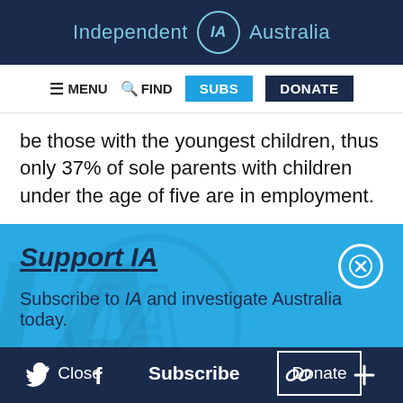Independent IA Australia
≡ MENU  🔍 FIND  SUBS  DONATE
be those with the youngest children, thus only 37% of sole parents with children under the age of five are in employment.
Support IA
Subscribe to IA and investigate Australia today.
Close  Subscribe  Donate
Twitter  Facebook  LinkedIn  Flipboard  Share  More